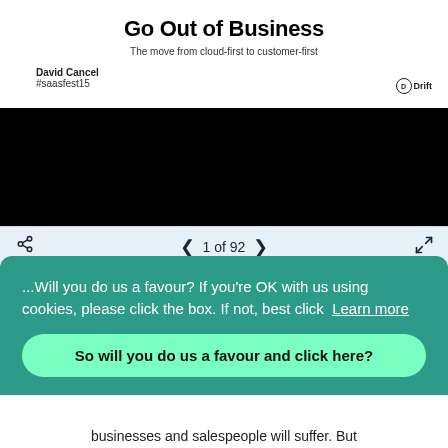Go Out of Business
The move from cloud-first to customer-first
David Cancel
#saasfest15
[Figure (other): Black slide preview area]
1 of 92
...Will you do us a favour? If you're OK with us using cookies, please click the box. If not, best click Learn more
So will you do us a favour and click here?
businesses and salespeople will suffer. But